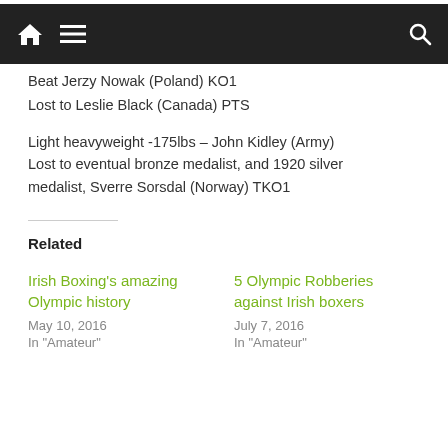Navigation bar with home, menu, and search icons
Beat Jerzy Nowak (Poland) KO1
Lost to Leslie Black (Canada) PTS
Light heavyweight -175lbs – John Kidley (Army) Lost to eventual bronze medalist, and 1920 silver medalist, Sverre Sorsdal (Norway) TKO1
Related
Irish Boxing's amazing Olympic history
May 10, 2016
In "Amateur"
5 Olympic Robberies against Irish boxers
July 7, 2016
In "Amateur"